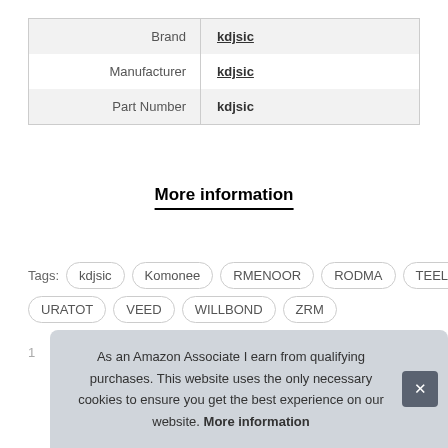| Brand | kdjsic |
| Manufacturer | kdjsic |
| Part Number | kdjsic |
More information
Tags: kdjsic Komonee RMENOOR RODMA TEELONG URATOT VEED WILLBOND ZRM
As an Amazon Associate I earn from qualifying purchases. This website uses the only necessary cookies to ensure you get the best experience on our website. More information